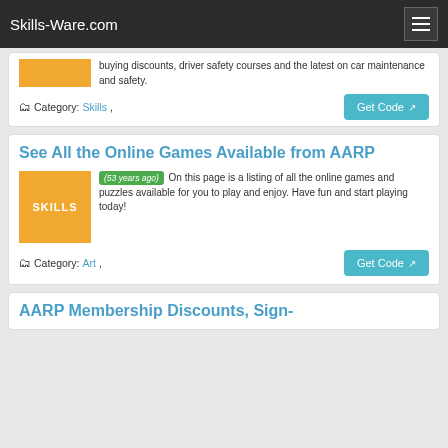Skills-Ware.com
buying discounts, driver safety courses and the latest on car maintenance and safety.
Category: Skills,
See All the Online Games Available from AARP
(53 years ago) On this page is a listing of all the online games and puzzles available for you to play and enjoy. Have fun and start playing today!
Category: Art,
AARP Membership Discounts, Sign-